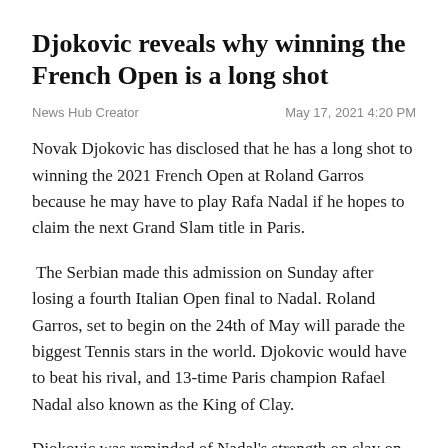Djokovic reveals why winning the French Open is a long shot
News Hub Creator	May 17, 2021 4:20 PM
Novak Djokovic has disclosed that he has a long shot to winning the 2021 French Open at Roland Garros because he may have to play Rafa Nadal if he hopes to claim the next Grand Slam title in Paris.
The Serbian made this admission on Sunday after losing a fourth Italian Open final to Nadal. Roland Garros, set to begin on the 24th of May will parade the biggest Tennis stars in the world. Djokovic would have to beat his rival, and 13-time Paris champion Rafael Nadal also known as the King of Clay.
Djokovic was reminded of Nadal's strength on clay on Sunday, the pair's 57th meeting, as he lost 7-5, 1-6, 6-3